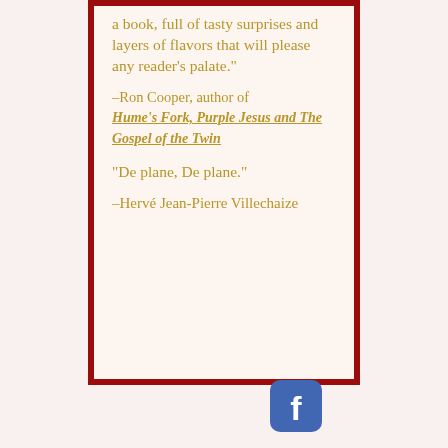a book, full of tasty surprises and layers of flavors that will please any reader's palate."
–Ron Cooper, author of Hume's Fork, Purple Jesus and The Gospel of the Twin
"De plane, De plane."
–Hervé Jean-Pierre Villechaize
[Figure (logo): Facebook logo icon — rounded square blue button with white lowercase f]